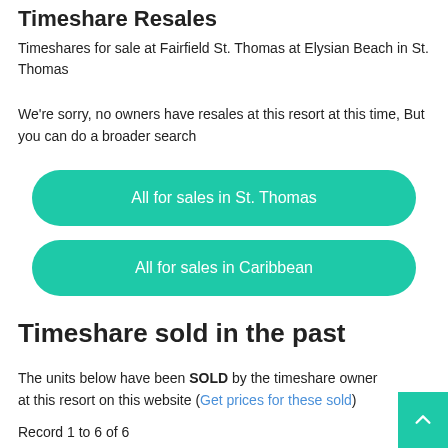Timeshare Resales
Timeshares for sale at Fairfield St. Thomas at Elysian Beach in St. Thomas
We're sorry, no owners have resales at this resort at this time, But you can do a broader search
All for sales in St. Thomas
All for sales in Caribbean
Timeshare sold in the past
The units below have been SOLD by the timeshare owner at this resort on this website (Get prices for these sold)
Record 1 to 6 of 6